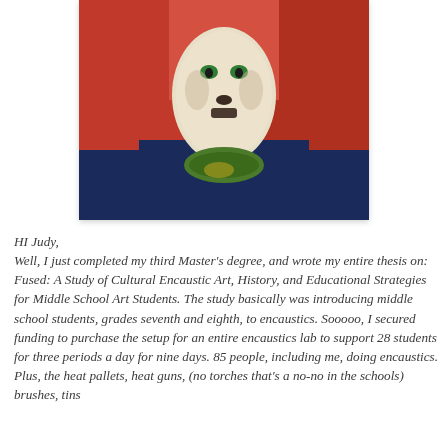[Figure (illustration): A student artwork depicting a cat-like face with green eyes on a red and blue background, rendered in encaustic or mixed media style.]
HI Judy,
Well, I just completed my third Master’s degree, and wrote my entire thesis on:  Fused: A Study of Cultural Encaustic Art, History, and Educational Strategies for Middle School Art Students.  The study basically was introducing middle school students, grades seventh and eighth, to encaustics.  Sooooo, I secured funding to purchase the setup for an entire encaustics lab to support 28 students for three periods a day for nine days.  85 people, including me, doing encaustics.  Plus, the heat pallets, heat guns, (no torches that’s a no-no in the schools) brushes, tins